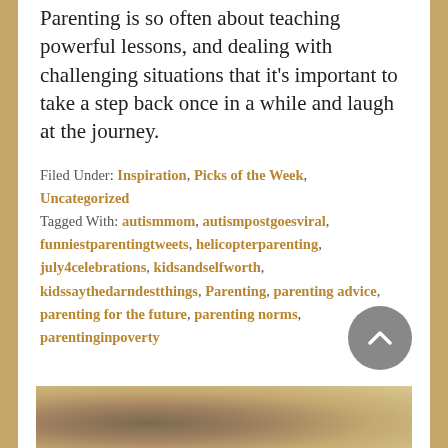Parenting is so often about teaching powerful lessons, and dealing with challenging situations that it's important to take a step back once in a while and laugh at the journey.
Filed Under: Inspiration, Picks of the Week, Uncategorized
Tagged With: autismmom, autismpostgoesviral, funniestparentingtweets, helicopterparenting, july4celebrations, kidsandselfworth, kidssaythedarndestthings, Parenting, parenting advice, parenting for the future, parenting norms, parentinginpoverty
[Figure (photo): A blurred photo at the bottom of the page showing a child or person, with warm brown and beige tones.]